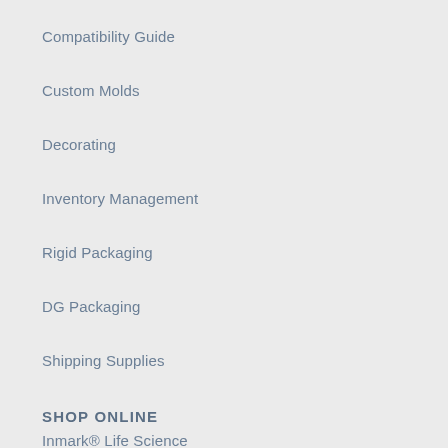Compatibility Guide
Custom Molds
Decorating
Inventory Management
Rigid Packaging
DG Packaging
Shipping Supplies
SHOP ONLINE
Inmark® Life Science